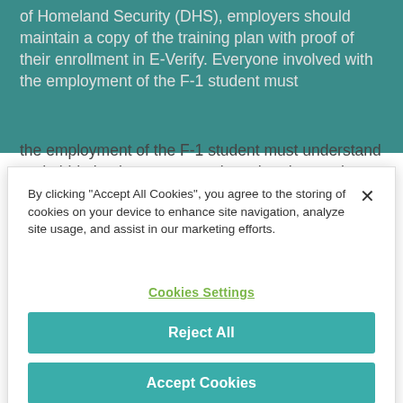of Homeland Security (DHS), employers should maintain a copy of the training plan with proof of their enrollment in E-Verify. Everyone involved with the employment of the F-1 student must understand and abide by the representations that the employer has made about the nature of the supervised training the F-1 student under STEM OPT status will receive.
By clicking "Accept All Cookies", you agree to the storing of cookies on your device to enhance site navigation, analyze site usage, and assist in our marketing efforts.
Cookies Settings
Reject All
Accept Cookies